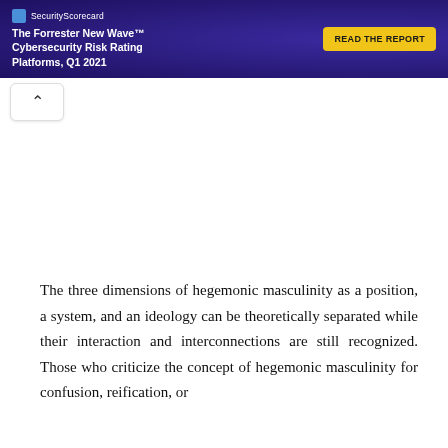[Figure (screenshot): SecurityScorecard banner advertisement for The Forrester New Wave Cybersecurity Risk Rating Platforms Q1 2021 with a yellow READ THE REPORT button]
[Figure (screenshot): Navigation back button with a caret/chevron up arrow on white rounded rectangle]
The three dimensions of hegemonic masculinity as a position, a system, and an ideology can be theoretically separated while their interaction and interconnections are still recognized. Those who criticize the concept of hegemonic masculinity for confusion, reification, or